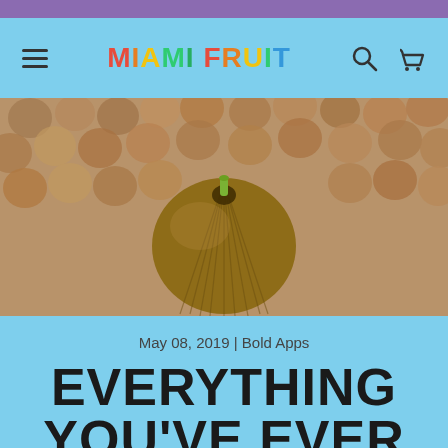MIAMI FRUIT
[Figure (photo): Close-up photo of a single dark brownish fig fruit in sharp focus in the center, with a yellow-green stem tip, surrounded by many blurred brown round fruits in the background.]
May 08, 2019 | Bold Apps
EVERYTHING YOU'VE EVER